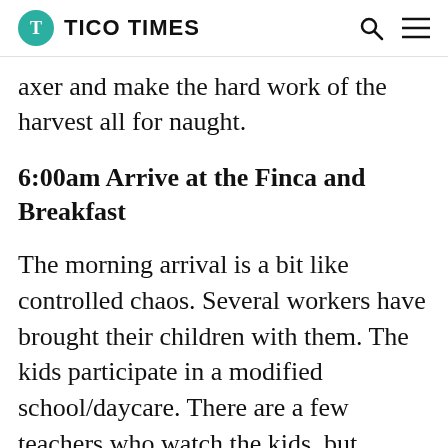T TICO TIMES
axer and make the hard work of the harvest all for naught.
6:00am Arrive at the Finca and Breakfast
The morning arrival is a bit like controlled chaos. Several workers have brought their children with them. The kids participate in a modified school/daycare. There are a few teachers who watch the kids, but it's more like a summer camp than a defacto school. It allows many